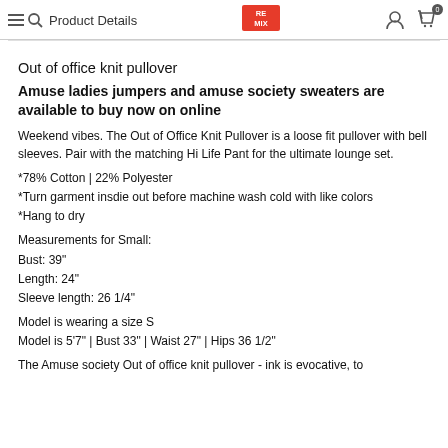Product Details
Out of office knit pullover
Amuse ladies jumpers and amuse society sweaters are available to buy now on online
Weekend vibes. The Out of Office Knit Pullover is a loose fit pullover with bell sleeves. Pair with the matching Hi Life Pant for the ultimate lounge set.
*78% Cotton | 22% Polyester
*Turn garment insdie out before machine wash cold with like colors
*Hang to dry
Measurements for Small:
Bust: 39"
Length: 24"
Sleeve length: 26 1/4"
Model is wearing a size S
Model is 5'7" | Bust 33" | Waist 27" | Hips 36 1/2"
The Amuse society Out of office knit pullover - ink is evocative, to